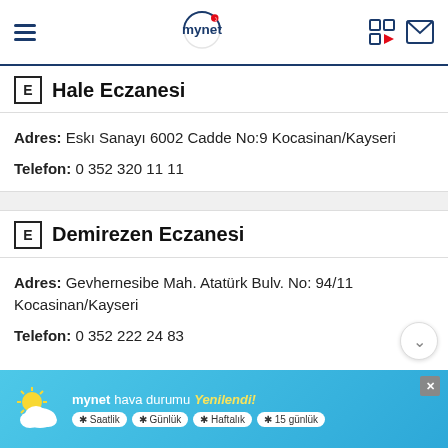mynet
E Hale Eczanesi
Adres: Eskı Sanayı 6002 Cadde No:9 Kocasinan/Kayseri
Telefon: 0 352 320 11 11
E Demirezen Eczanesi
Adres: Gevhernesibe Mah. Atatürk Bulv. No: 94/11 Kocasinan/Kayseri
Telefon: 0 352 222 24 83
[Figure (infographic): Mynet hava durumu advertisement banner with weather icon and time options: Saatlik, Günlük, Haftalık, 15 günlük]